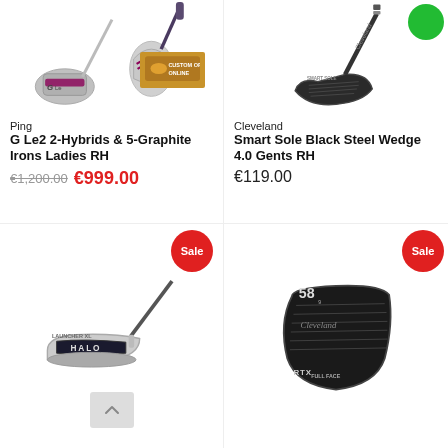[Figure (photo): Ping G Le2 hybrid and iron set with purple accents and custom options online badge]
Ping
G Le2 2-Hybrids & 5-Graphite Irons Ladies RH
€1,200.00 €999.00
[Figure (photo): Cleveland Smart Sole Black Steel Wedge 4.0 with dark finish]
Cleveland
Smart Sole Black Steel Wedge 4.0 Gents RH
€119.00
[Figure (photo): Cleveland Launcher XL Halo iron set with Sale badge]
[Figure (photo): Cleveland RTX Full Face wedge 58 degree with Sale badge]